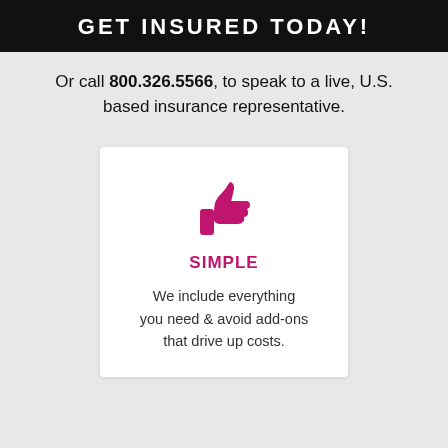GET INSURED TODAY!
Or call 800.326.5566, to speak to a live, U.S. based insurance representative.
[Figure (illustration): Pink thumbs-up icon]
SIMPLE
We include everything you need & avoid add-ons that drive up costs.